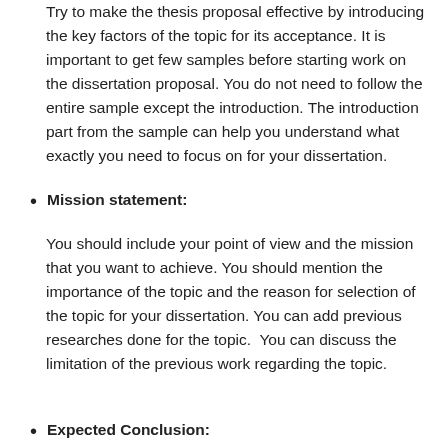Try to make the thesis proposal effective by introducing the key factors of the topic for its acceptance. It is important to get few samples before starting work on the dissertation proposal. You do not need to follow the entire sample except the introduction. The introduction part from the sample can help you understand what exactly you need to focus on for your dissertation.
Mission statement:
You should include your point of view and the mission that you want to achieve. You should mention the importance of the topic and the reason for selection of the topic for your dissertation. You can add previous researches done for the topic.  You can discuss the limitation of the previous work regarding the topic.
Expected Conclusion: